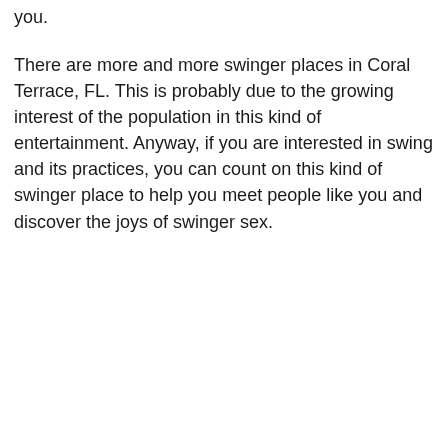you.
There are more and more swinger places in Coral Terrace, FL. This is probably due to the growing interest of the population in this kind of entertainment. Anyway, if you are interested in swing and its practices, you can count on this kind of swinger place to help you meet people like you and discover the joys of swinger sex.